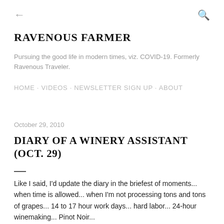← (back) Q (search)
RAVENOUS FARMER
Pursuing the good life in modern times, viz. COVID-19. Formerly Ravenous Traveler.
HOME · VIDEOS · NEWSLETTER SIGN UP · ABOUT
October 29, 2010
DIARY OF A WINERY ASSISTANT (OCT. 29)
Like I said, I'd update the diary in the briefest of moments... when time is allowed... when I'm not processing tons and tons of grapes... 14 to 17 hour work days... hard labor... 24-hour winemaking... Pinot Noir...